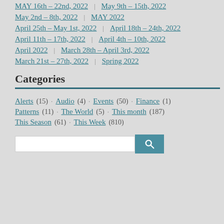MAY 16th – 22nd, 2022 | May 9th – 15th, 2022
May 2nd – 8th, 2022 | MAY 2022
April 25th – May 1st, 2022 | April 18th – 24th, 2022
April 11th – 17th, 2022 | April 4th – 10th, 2022
April 2022 | March 28th – April 3rd, 2022
March 21st – 27th, 2022 | Spring 2022
Categories
Alerts (15) · Audio (4) · Events (50) · Finance (1)
Patterns (11) · The World (5) · This month (187)
This Season (61) · This Week (810)